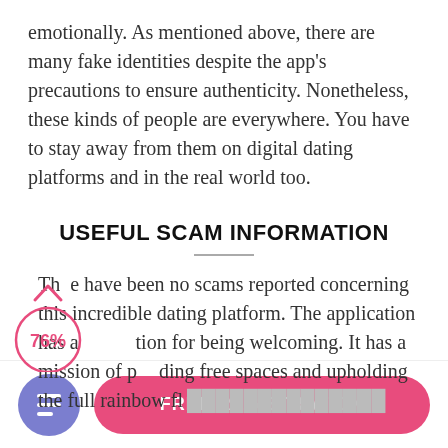emotionally. As mentioned above, there are many fake identities despite the app's precautions to ensure authenticity. Nonetheless, these kinds of people are everywhere. You have to stay away from them on digital dating platforms and in the real world too.
USEFUL SCAM INFORMATION
There have been no scams reported concerning this incredible dating platform. The application has a reputation for being welcoming. It has a mission of providing free spaces and upholding the full rainbow fl...
[Figure (infographic): A circular badge/donut indicator showing 76% in pink/red color with an upward arrow, overlaid on the body text]